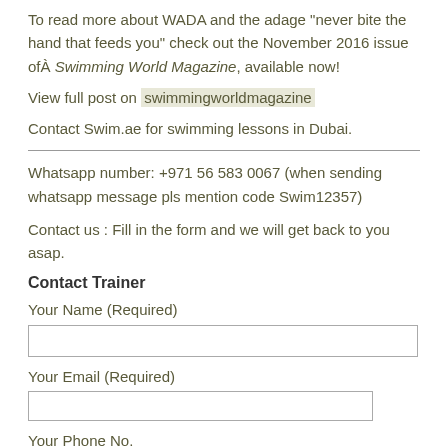To read more about WADA and the adage "never bite the hand that feeds you" check out the November 2016 issue ofÂ Swimming World Magazine, available now!
View full post on swimmingworldmagazine
Contact Swim.ae for swimming lessons in Dubai.
Whatsapp number: +971 56 583 0067 (when sending whatsapp message pls mention code Swim12357)
Contact us : Fill in the form and we will get back to you asap.
Contact Trainer
Your Name (Required)
Your Email (Required)
Your Phone No.
Your Question